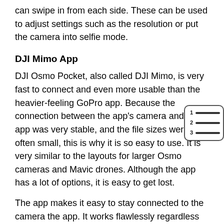can swipe in from each side. These can be used to adjust settings such as the resolution or put the camera into selfie mode.
DJI Mimo App
DJI Osmo Pocket, also called DJI Mimo, is very fast to connect and even more usable than the heavier-feeling GoPro app. Because the connection between the app's camera and the app was very stable, and the file sizes were often small, this is why it is so easy to use. It is very similar to the layouts for larger Osmo cameras and Mavic drones. Although the app has a lot of options, it is easy to get lost.
The app makes it easy to stay connected to the camera the app. It works flawlessly regardless of whether you are using Bluetooth via the Wireless Module or tethered. The main page has tutorials that play with an auto-playing